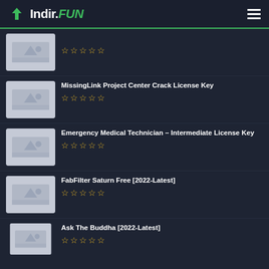Indir.FUN
(no title shown) — stars: 5 empty stars
MissingLink Project Center Crack License Key — stars: 5 empty stars
Emergency Medical Technician – Intermediate License Key — stars: 5 empty stars
FabFilter Saturn Free [2022-Latest] — stars: 5 empty stars
Ask The Buddha [2022-Latest] — stars: 5 empty stars (partial)